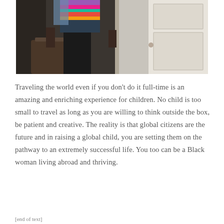[Figure (photo): A Black woman carrying luggage and wearing a colorful striped top, standing at a doorway, photographed from torso down.]
Traveling the world even if you don't do it full-time is an amazing and enriching experience for children. No child is too small to travel as long as you are willing to think outside the box, be patient and creative. The reality is that global citizens are the future and in raising a global child, you are setting them on the pathway to an extremely successful life. You too can be a Black woman living abroad and thriving.
[end of text]